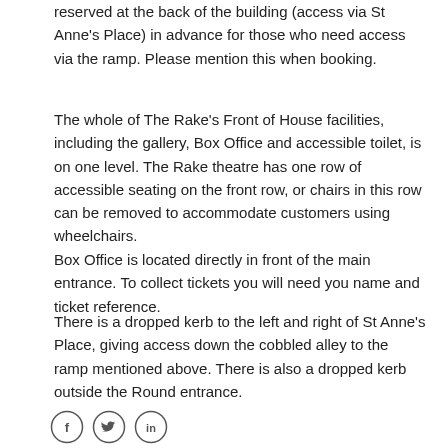reserved at the back of the building (access via St Anne's Place) in advance for those who need access via the ramp. Please mention this when booking.
The whole of The Rake's Front of House facilities, including the gallery, Box Office and accessible toilet, is on one level. The Rake theatre has one row of accessible seating on the front row, or chairs in this row can be removed to accommodate customers using wheelchairs.
Box Office is located directly in front of the main entrance. To collect tickets you will need you name and ticket reference.
There is a dropped kerb to the left and right of St Anne's Place, giving access down the cobbled alley to the ramp mentioned above. There is also a dropped kerb outside the Round entrance.
[Figure (illustration): Three social media icons in circles: Facebook (f), Twitter (bird), LinkedIn (in)]